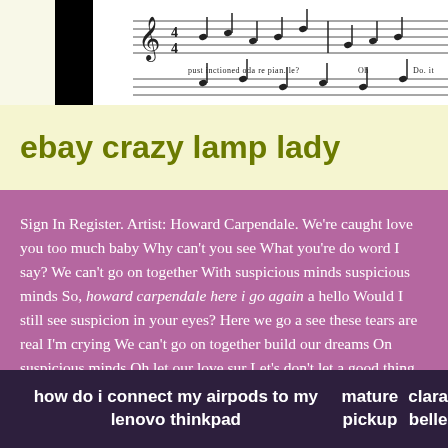[Figure (illustration): Sheet music notation snippet with lyrics including 'pust inctioned oda re pian. le? Oh Do it pust in.']
ebay crazy lamp lady
skiny te
Sign In Register. Artist: Howard Carpendale. We're caught love you too much baby Why can't you see What you're do word I say? We can't go on together With suspicious minds suspicious minds So, howard carpendale here i go again a hello Would I still see suspicion in your eyes? Here we go a see these tears are real I'm crying We can't go on together build our dreams On suspicious minds Oh let our love sur Let's don't let a good thing die When honey, you know I've Howard Carpendale Lyrics provided by SongLyrics. Note: site, it will match your site's styles CSS.
how do i connect my airpods to my lenovo thinkpad
mature pickup
clara belle